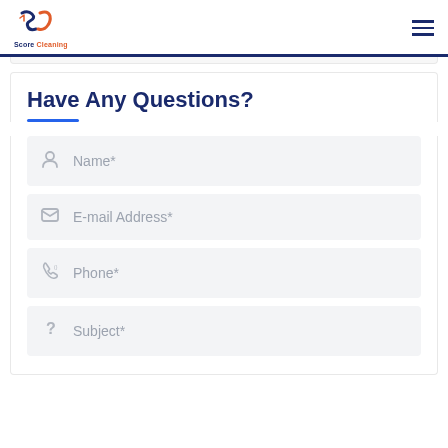Score Cleaning
Have Any Questions?
Name*
E-mail Address*
Phone*
Subject*